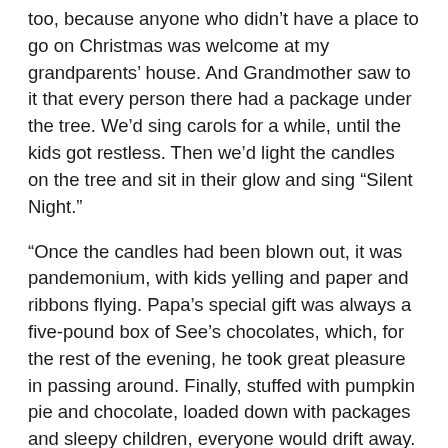too, because anyone who didn't have a place to go on Christmas was welcome at my grandparents' house. And Grandmother saw to it that every person there had a package under the tree. We'd sing carols for a while, until the kids got restless. Then we'd light the candles on the tree and sit in their glow and sing “Silent Night.”
“Once the candles had been blown out, it was pandemonium, with kids yelling and paper and ribbons flying. Papa's special gift was always a five-pound box of See's chocolates, which, for the rest of the evening, he took great pleasure in passing around. Finally, stuffed with pumpkin pie and chocolate, loaded down with packages and sleepy children, everyone would drift away. But never very far away. Because to each and every one of us, that old farmhouse was home. And every day my grandparents lived in it was Christmas.